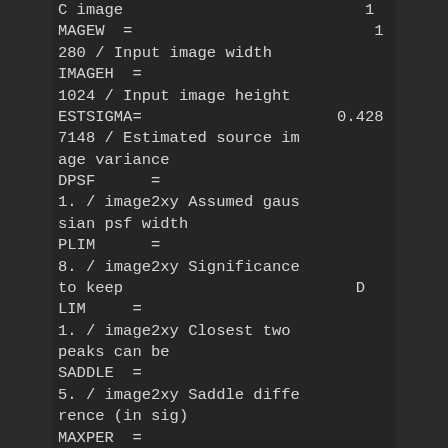C image                          1
MAGEW  =                          1
280 / Input image width
IMAGEH  =
1024 / Input image height
ESTSIGMA=                     0.428
7148 / Estimated source im
age variance
DPSF      =
1. / image2xy Assumed gaus
sian psf width
PLIM      =
8. / image2xy Significance
to keep                         D
LIM     =
1. / image2xy Closest two
peaks can be
SADDLE  =
5. / image2xy Saddle diffe
rence (in sig)
MAXPER  =
1000 / image2xy Max num of
peaks per object
MAXPEAKS=                         1
0000 / image2xy Max num of